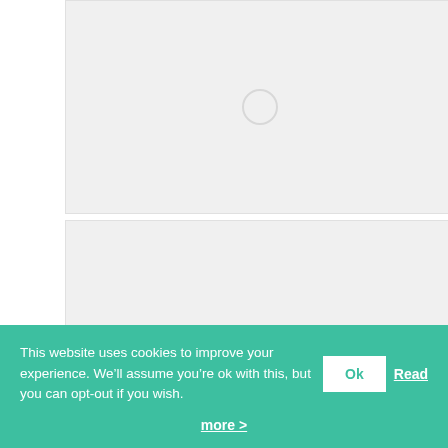[Figure (other): Image placeholder with loading spinner, top panel]
[Figure (other): Image placeholder with loading spinner, bottom panel]
This website uses cookies to improve your experience. We'll assume you're ok with this, but you can opt-out if you wish. Ok Read more >